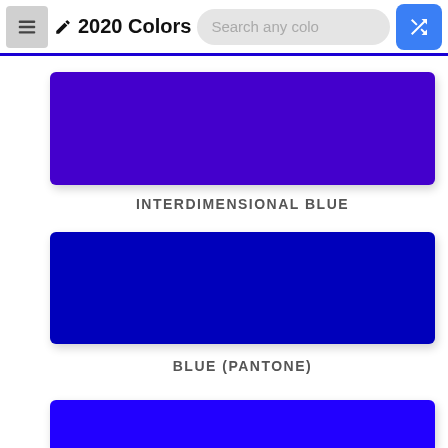2020 Colors
[Figure (other): Color swatch: Interdimensional Blue (deep purple-blue rectangle)]
INTERDIMENSIONAL BLUE
[Figure (other): Color swatch: Blue Pantone (dark blue rectangle)]
BLUE (PANTONE)
[Figure (other): Color swatch: third blue color (partially visible)]